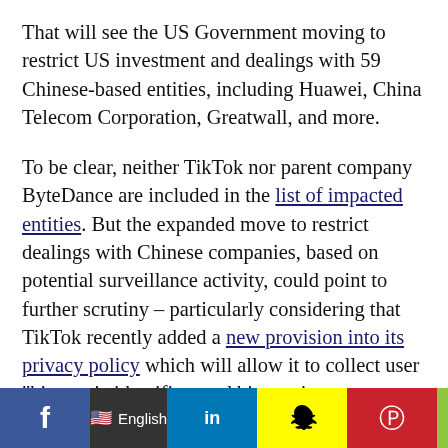That will see the US Government moving to restrict US investment and dealings with 59 Chinese-based entities, including Huawei, China Telecom Corporation, Greatwall, and more.
To be clear, neither TikTok nor parent company ByteDance are included in the list of impacted entities. But the expanded move to restrict dealings with Chinese companies, based on potential surveillance activity, could point to further scrutiny – particularly considering that TikTok recently added a new provision into its privacy policy which will allow it to collect user "biometric identifiers and biometric information", including "faceprints and voiceprints", via the app.
That could open up fresh concerns about the platform –